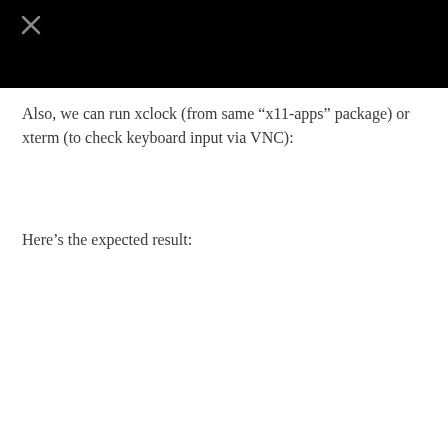[Figure (screenshot): Black screenshot area with a small X/cross icon in the upper-left portion, representing a GUI window thumbnail or broken image placeholder.]
Also, we can run xclock (from same “x11-apps” package) or xterm (to check keyboard input via VNC):
Here’s the expected result: